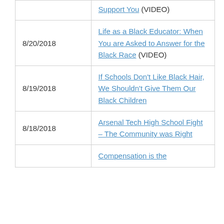| Date | Title |
| --- | --- |
|  | Support You (VIDEO) |
| 8/20/2018 | Life as a Black Educator: When You are Asked to Answer for the Black Race (VIDEO) |
| 8/19/2018 | If Schools Don't Like Black Hair, We Shouldn't Give Them Our Black Children |
| 8/18/2018 | Arsenal Tech High School Fight – The Community was Right |
|  | Compensation is the |